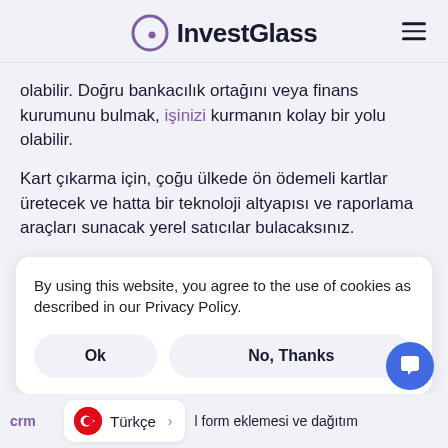InvestGlass
olabilir. Doğru bankacılık ortağını veya finans kurumunu bulmak, işinizi kurmanın kolay bir yolu olabilir.
Kart çıkarma için, çoğu ülkede ön ödemeli kartlar üretecek ve hatta bir teknoloji altyapısı ve raporlama araçları sunacak yerel satıcılar bulacaksınız.
By using this website, you agree to the use of cookies as described in our Privacy Policy.
Ok
No, Thanks
Türkçe
crm   l form eklemesi ve dağıtım